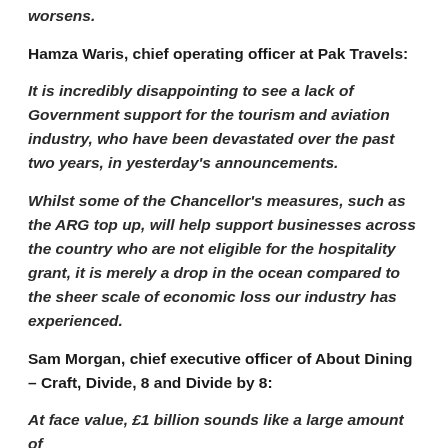worsens.
Hamza Waris, chief operating officer at Pak Travels:
It is incredibly disappointing to see a lack of Government support for the tourism and aviation industry, who have been devastated over the past two years, in yesterday's announcements.
Whilst some of the Chancellor's measures, such as the ARG top up, will help support businesses across the country who are not eligible for the hospitality grant, it is merely a drop in the ocean compared to the sheer scale of economic loss our industry has experienced.
Sam Morgan, chief executive officer of About Dining – Craft, Divide, 8 and Divide by 8:
At face value, £1 billion sounds like a large amount of